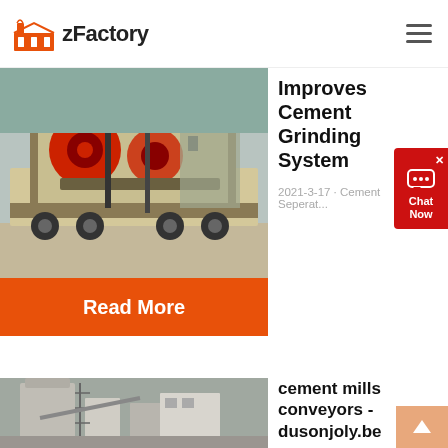zFactory
[Figure (photo): Mobile jaw crusher / heavy industrial machinery on a truck trailer at a quarry site]
Improves Cement Grinding System
2021-3-17 · Cement Seperat...
Read More
[Figure (photo): Cement mill conveyor industrial facility with silos and metal structures]
cement mills conveyors - dusonjoly.be
Conveyor Systems For Cement....